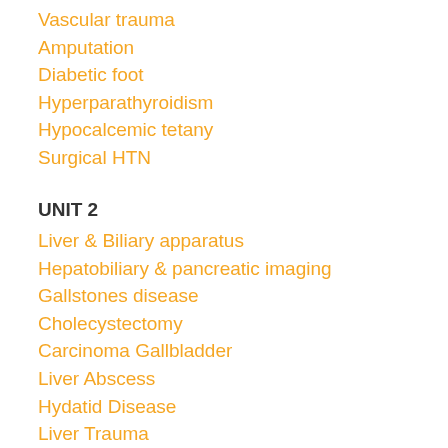Vascular trauma
Amputation
Diabetic foot
Hyperparathyroidism
Hypocalcemic tetany
Surgical HTN
UNIT 2
Liver & Biliary apparatus
Hepatobiliary & pancreatic imaging
Gallstones disease
Cholecystectomy
Carcinoma Gallbladder
Liver Abscess
Hydatid Disease
Liver Trauma
Acute Pancreatitis
Surgical diseases of spleen
Portal HTN